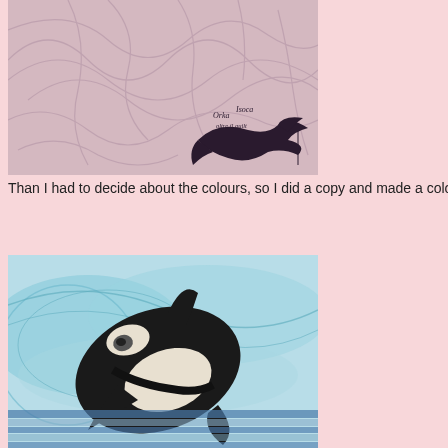[Figure (photo): Photo of a quilt design sketch on white/light fabric with swirling pencil lines, featuring a dark bird/orca logo with text 'Orka Isoca oltre il quilt' in the lower right corner.]
Than I had to decide about the colours, so I did a copy and made a coloured v
[Figure (photo): Photo of a coloured version of the quilt design, showing an orca whale drawn in black with blue and teal watercolour-style background swirls and horizontal stripes at the bottom.]